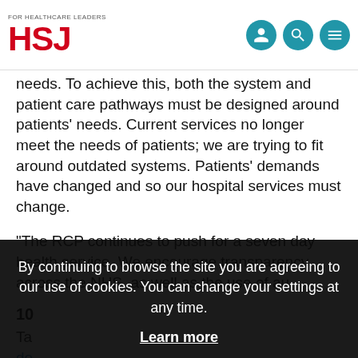HSJ - FOR HEALTHCARE LEADERS
needs. To achieve this, both the system and patient care pathways must be designed around patients' needs. Current services no longer meet the needs of patients; we are trying to fit around outdated systems. Patients' demands have changed and so our hospital services must change.
“The RCP continues to push for a seven day health service. We encourage transparency across the NHS, as well as the use of au...
10...
Ta... de... ra...
By continuing to browse the site you are agreeing to our use of cookies. You can change your settings at any time. Learn more OK
He says: “The change that is happening to the NHS is not